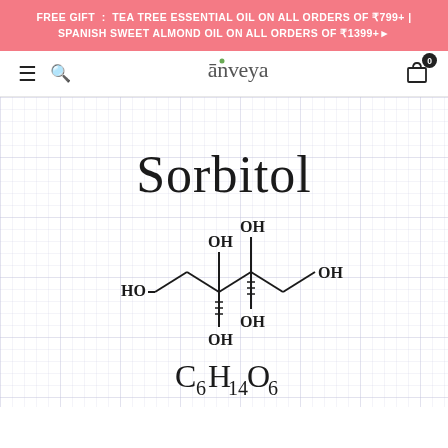FREE GIFT : TEA TREE ESSENTIAL OIL ON ALL ORDERS OF ₹799+ | SPANISH SWEET ALMOND OIL ON ALL ORDERS OF ₹1399+
[Figure (screenshot): Anveya website header with hamburger menu, search icon, Anveya logo, and shopping cart with badge showing 0]
[Figure (illustration): Sorbitol chemical structure drawn on graph paper background. Shows the name 'Sorbitol' in handwritten font, the structural formula with HO, OH groups attached to carbon chain, and molecular formula C6H14O6 at the bottom.]